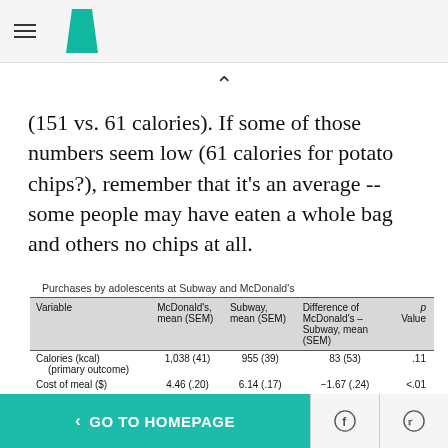HuffPost logo and navigation
(151 vs. 61 calories). If some of those numbers seem low (61 calories for potato chips?), remember that it's an average -- some people may have eaten a whole bag and others no chips at all.
Purchases by adolescents at Subway and McDonald's
| Variable | McDonald's, mean (SEM) | Subway, mean (SEM) | Difference of McDonald's - Subway, mean (SEM) | p Value |
| --- | --- | --- | --- | --- |
| Calories (kcal) (primary outcome) | 1,038 (41) | 955 (39) | 83 (53) | .11 |
| Cost of meal ($) | 4.46 (.20) | 6.14 (.17) | −1.67 (.24) | <.01 |
| Origin of calories |  |  |  |  |
| Main dishes | 572 (28) | 784 (31) | −212 (39) | <.01 |
< GO TO HOMEPAGE | Facebook | Twitter | X